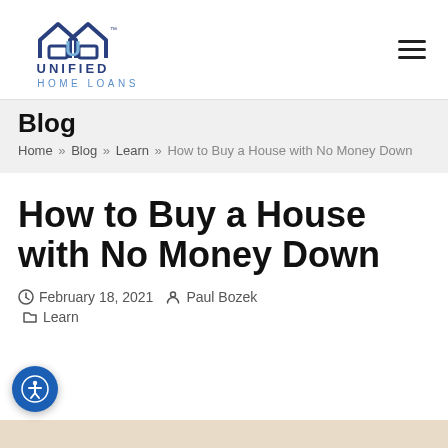[Figure (logo): Unified Home Loans logo with two house outlines and a U shape, text UNIFIED HOME LOANS]
Blog
Home » Blog » Learn » How to Buy a House with No Money Down
How to Buy a House with No Money Down
February 18, 2021  Paul Bozek
Learn